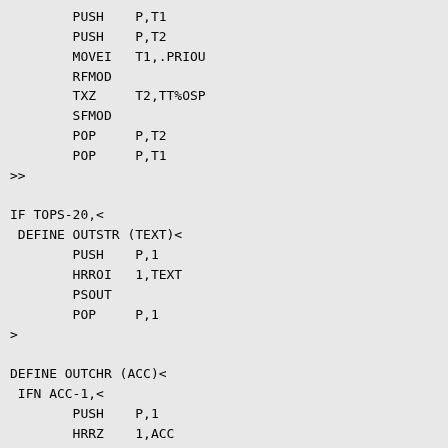PUSH    P,T1
        PUSH    P,T2
        MOVEI   T1,.PRIOU
        RFMOD
        TXZ     T2,TT%OSP
        SFMOD
        POP     P,T2
        POP     P,T1
>>

IF TOPS-20,<
 DEFINE OUTSTR (TEXT)<
        PUSH    P,1
        HRROI   1,TEXT
        PSOUT
        POP     P,1
>

DEFINE OUTCHR (ACC)<
 IFN ACC-1,<
        PUSH    P,1
        HRRZ    1,ACC
>
        PBOUT
IFN ACC-1,<
        POP     P,1
>
>
> ;END TOPS-20
>       ;END OF SCNDC1